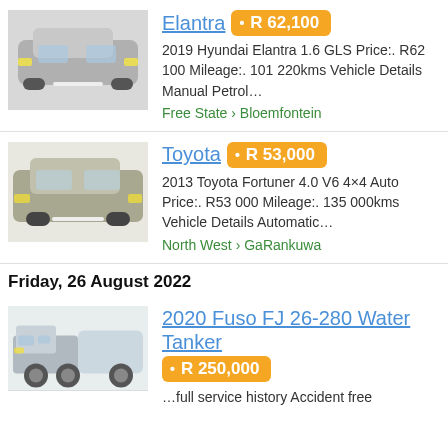[Figure (photo): Silver Hyundai Elantra sedan, front/side view in showroom]
Elantra • R 62,100
2019 Hyundai Elantra 1.6 GLS Price:. R62 100 Mileage:. 101 220kms Vehicle Details Manual Petrol…
Free State › Bloemfontein
[Figure (photo): Silver Toyota Fortuner SUV, front view in outdoor setting]
Toyota • R 53,000
2013 Toyota Fortuner 4.0 V6 4×4 Auto Price:. R53 000 Mileage:. 135 000kms Vehicle Details Automatic…
North West › GaRankuwa
Friday, 26 August 2022
[Figure (photo): White Fuso FJ 26-280 water tanker truck, side view]
2020 Fuso FJ 26-280 Water Tanker • R 250,000
...full service history Accident free